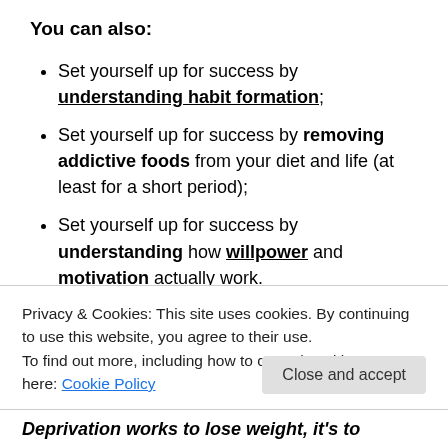You can also:
Set yourself up for success by understanding habit formation;
Set yourself up for success by removing addictive foods from your diet and life (at least for a short period);
Set yourself up for success by understanding how willpower and motivation actually work.
Set yourself up for success by understanding the basics of appetite, and also becoming mindful of
Privacy & Cookies: This site uses cookies. By continuing to use this website, you agree to their use.
To find out more, including how to control cookies, see here: Cookie Policy
Close and accept
Deprivation works to lose weight, it's to